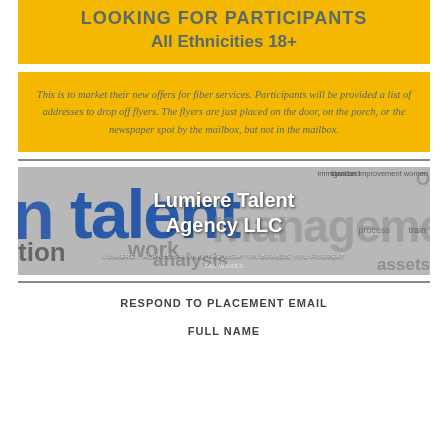LOOKING FOR PARTICIPANTS
All Ethnicities 18+
This is to market their new offers for fiber services. Participants will be provided a list of addresses to drop off flyers. The flyers are just placed on the door, on the porch, or the newspaper spot by the mailbox, but not in the mailbox.
[Figure (logo): Lumiere Talent Agency LLC logo with talent management word cloud background. Tagline: LUMIERE...ALWAYS SHINING THE LIGHT ON BRANDS YOU FOGREAT TAL WAGES]
RESPOND TO PLACEMENT EMAIL
FULL NAME